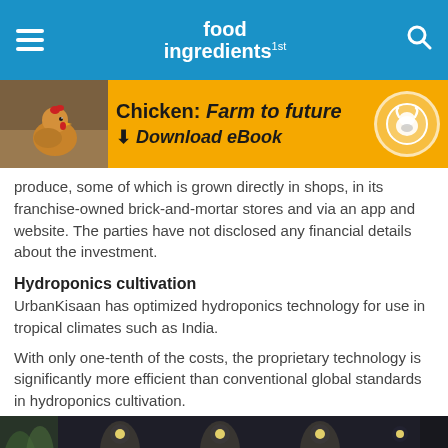food ingredients 1st
[Figure (infographic): Advertisement banner: Chicken: Farm to future - Download eBook, with chicken photo on left and logo circle on right, gold/yellow background]
produce, some of which is grown directly in shops, in its franchise-owned brick-and-mortar stores and via an app and website. The parties have not disclosed any financial details about the investment.
Hydroponics cultivation
UrbanKisaan has optimized hydroponics technology for use in tropical climates such as India.
With only one-tenth of the costs, the proprietary technology is significantly more efficient than conventional global standards in hydroponics cultivation.
[Figure (photo): Indoor farm store photo showing a sign reading 'Welcome to Your Neighbourhood Farm' in purple text on dark background with spotlights]